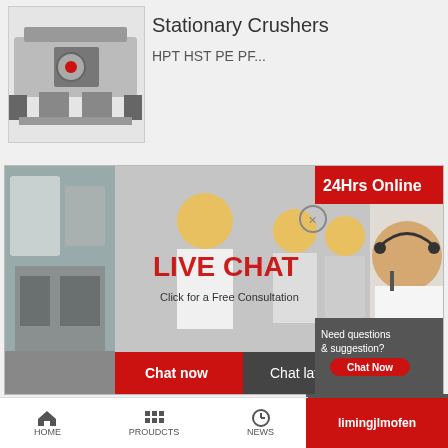[Figure (photo): Industrial stationary crusher machine photo]
Stationary Crushers
HPT HST PE PF...
[Figure (screenshot): Live chat banner with workers in hard hats. Shows LIVE CHAT text in red, Click for a Free Consultation subtitle, Chat now (red) and Chat later (dark) buttons, 24Hrs Online red header, woman with headset on right side.]
ball mill centrifugalball mill centrifugal force
crushing plant pages
Need questions & suggestion?
Chat Now
Enquiry
limingjlmofen
HOME   PROUDCTS   NEWS   limingjlmofen